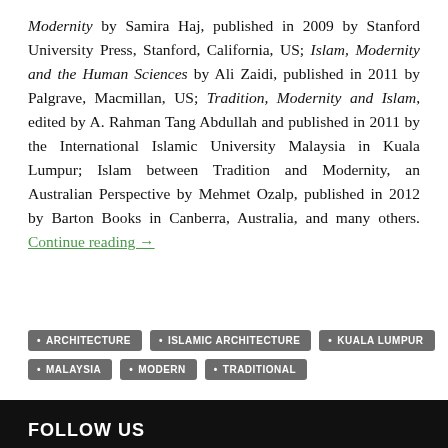Modernity by Samira Haj, published in 2009 by Stanford University Press, Stanford, California, US; Islam, Modernity and the Human Sciences by Ali Zaidi, published in 2011 by Palgrave, Macmillan, US; Tradition, Modernity and Islam, edited by A. Rahman Tang Abdullah and published in 2011 by the International Islamic University Malaysia in Kuala Lumpur; Islam between Tradition and Modernity, an Australian Perspective by Mehmet Ozalp, published in 2012 by Barton Books in Canberra, Australia, and many others. Continue reading →
ARCHITECTURE
ISLAMIC ARCHITECTURE
KUALA LUMPUR
MALAYSIA
MODERN
TRADITIONAL
FOLLOW US